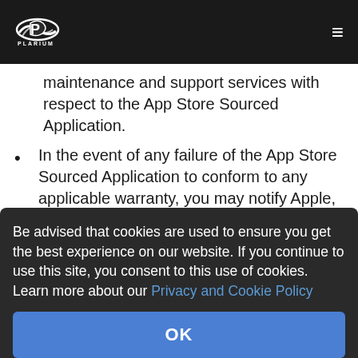Plarium
maintenance and support services with respect to the App Store Sourced Application.
In the event of any failure of the App Store Sourced Application to conform to any applicable warranty, you may notify Apple, and Apple will refund the purchase price for the App Store Sourced Application to you and to the maximum extent permitted
Be advised that cookies are used to ensure you get the best experience on our website. If you continue to use this site, you consent to this use of cookies. Learn more about our Privacy and Cookie Policy
OK